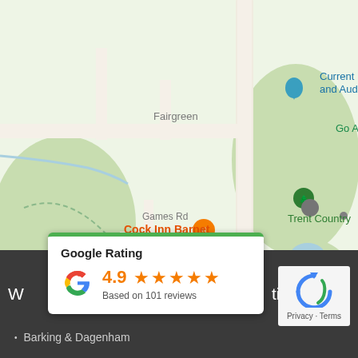[Figure (map): Google Maps screenshot showing Cockfosters area with locations: Current Electrics and Audio, Go Ape Cockfo, Cock Inn Barnet, Trent Country (Park), Cockfosters Bowling Club, Fairgreen, Games Rd, Verwood Dr, Cockfosters Rd road label.]
[Figure (infographic): Google Rating card showing 4.9 stars based on 101 reviews, with Google 'G' logo and green top border.]
W... ties in:
Barking & Dagenham
[Figure (logo): Google reCAPTCHA logo with Privacy · Terms text below.]